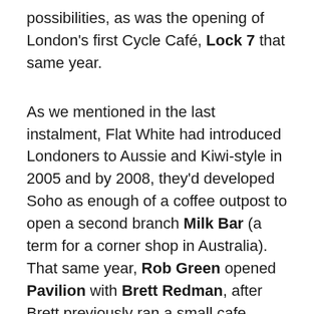possibilities, as was the opening of London's first Cycle Café, Lock 7 that same year.
As we mentioned in the last instalment, Flat White had introduced Londoners to Aussie and Kiwi-style in 2005 and by 2008, they'd developed Soho as enough of a coffee outpost to open a second branch Milk Bar (a term for a corner shop in Australia). That same year, Rob Green opened Pavilion with Brett Redman, after Brett previously ran a small cafe called Elliot's in Bethnal Green (where Rob was a regular customer). Set in fabulous Victoria Park, Rob and Brett soon earned a great reputation for their food – especially brunch – but coffee was always a big deal – and Pavilion always served Square Mile coffee (until recently). Brett and Rob have